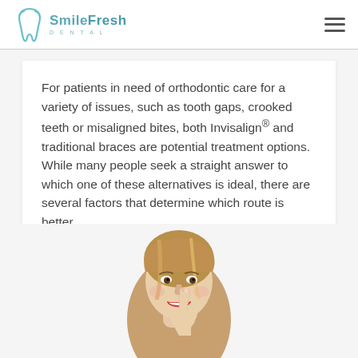SmileFresh Dental
For patients in need of orthodontic care for a variety of issues, such as tooth gaps, crooked teeth or misaligned bites, both Invisalign® and traditional braces are potential treatment options. While many people seek a straight answer to which one of these alternatives is ideal, there are several factors that determine which route is better…
[Figure (photo): Young woman smiling and pointing to her teeth with her finger, shown from the shoulders up against a white background.]